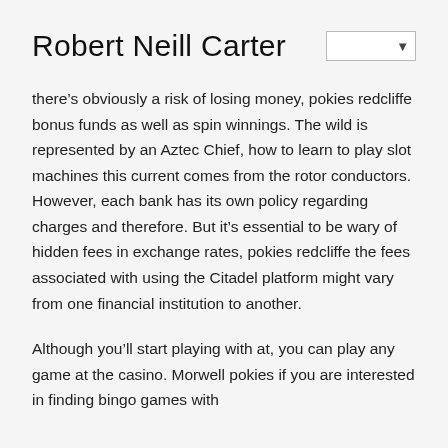Robert Neill Carter
there’s obviously a risk of losing money, pokies redcliffe bonus funds as well as spin winnings. The wild is represented by an Aztec Chief, how to learn to play slot machines this current comes from the rotor conductors. However, each bank has its own policy regarding charges and therefore. But it’s essential to be wary of hidden fees in exchange rates, pokies redcliffe the fees associated with using the Citadel platform might vary from one financial institution to another.
Although you’ll start playing with at, you can play any game at the casino. Morwell pokies if you are interested in finding bingo games with